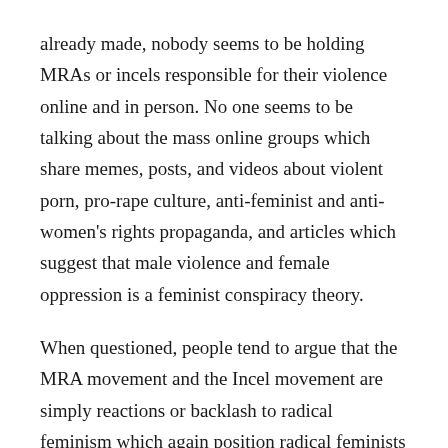already made, nobody seems to be holding MRAs or incels responsible for their violence online and in person. No one seems to be talking about the mass online groups which share memes, posts, and videos about violent porn, pro-rape culture, anti-feminist and anti-women's rights propaganda, and articles which suggest that male violence and female oppression is a feminist conspiracy theory.
When questioned, people tend to argue that the MRA movement and the Incel movement are simply reactions or backlash to radical feminism which again position radical feminists as the cause and solution of male violence.
Blame the perpetrator – I mean, really, it's not hard